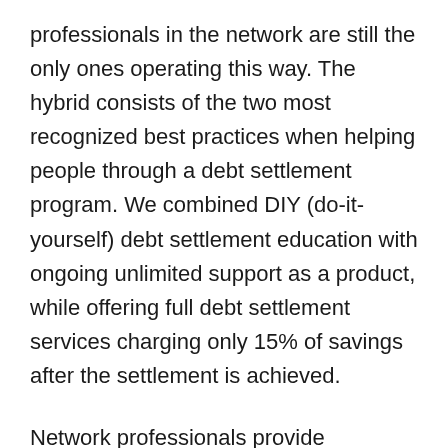professionals in the network are still the only ones operating this way. The hybrid consists of the two most recognized best practices when helping people through a debt settlement program. We combined DIY (do-it-yourself) debt settlement education with ongoing unlimited support as a product, while offering full debt settlement services charging only 15% of savings after the settlement is achieved.
Network professionals provide customers tools so you can negotiate settlements with your creditors without having to pay a professional to negotiate for them. And utilizing the ongoing